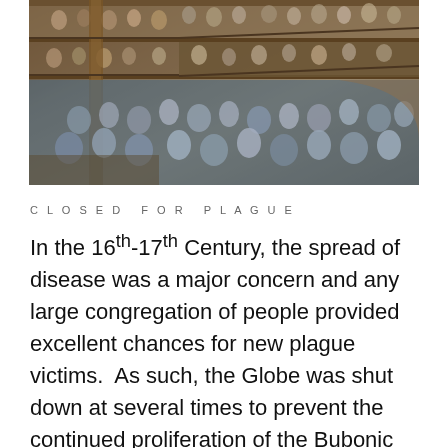[Figure (photo): Interior panoramic photo of Shakespeare's Globe Theatre filled with a large crowd of audience members across multiple balcony levels and the standing area (yard), with wooden gallery structures visible.]
CLOSED FOR PLAGUE
In the 16th-17th Century, the spread of disease was a major concern and any large congregation of people provided excellent chances for new plague victims.  As such, the Globe was shut down at several times to prevent the continued proliferation of the Bubonic Plague.